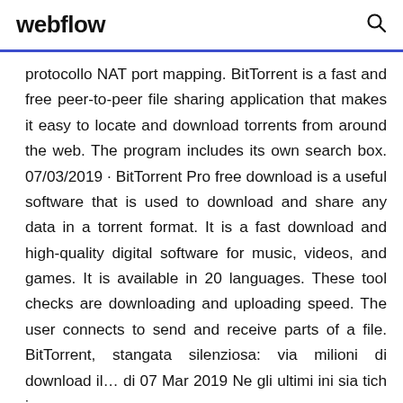webflow
protocollo NAT port mapping. BitTorrent is a fast and free peer-to-peer file sharing application that makes it easy to locate and download torrents from around the web. The program includes its own search box. 07/03/2019 · BitTorrent Pro free download is a useful software that is used to download and share any data in a torrent format. It is a fast download and high-quality digital software for music, videos, and games. It is available in 20 languages. These tool checks are downloading and uploading speed. The user connects to send and receive parts of a file. BitTorrent, stangata silenziosa: via milioni di download il… di 07 Mar 2019 Ne gli ultimi giorni si è tich...